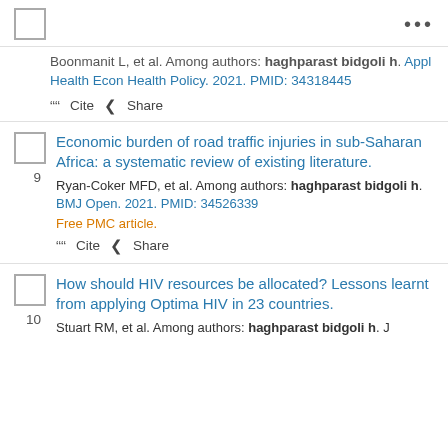[checkbox] ...
Boonmanit L, et al. Among authors: haghparast bidgoli h. Appl Health Econ Health Policy. 2021. PMID: 34318445
" Cite  < Share
9
Economic burden of road traffic injuries in sub-Saharan Africa: a systematic review of existing literature.
Ryan-Coker MFD, et al. Among authors: haghparast bidgoli h. BMJ Open. 2021. PMID: 34526339
Free PMC article.
" Cite  < Share
10
How should HIV resources be allocated? Lessons learnt from applying Optima HIV in 23 countries.
Stuart RM, et al. Among authors: haghparast bidgoli h. J